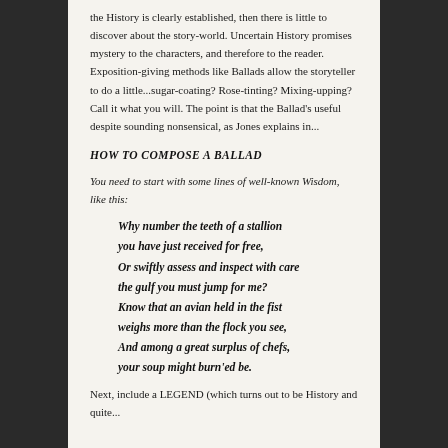the History is clearly established, then there is little to discover about the story-world. Uncertain History promises mystery to the characters, and therefore to the reader. Exposition-giving methods like Ballads allow the storyteller to do a little...sugar-coating? Rose-tinting? Mixing-upping? Call it what you will. The point is that the Ballad's useful despite sounding nonsensical, as Jones explains in...
HOW TO COMPOSE A BALLAD
You need to start with some lines of well-known Wisdom, like this:
Why number the teeth of a stallion
you have just received for free,
Or swiftly assess and inspect with care
the gulf you must jump for me?
Know that an avian held in the fist
weighs more than the flock you see,
And among a great surplus of chefs,
your soup might burn'ed be.
Next, include a LEGEND (which turns out to be History and quite...